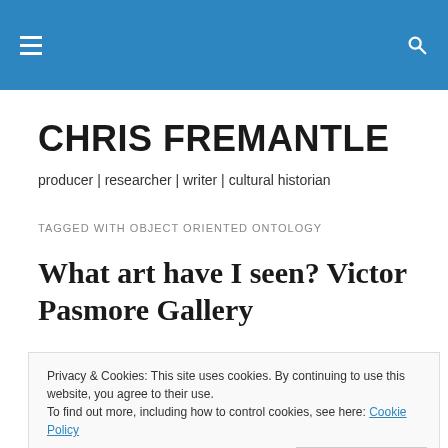CHRIS FREMANTLE — site header with navigation menu icon and search icon
CHRIS FREMANTLE
producer | researcher | writer | cultural historian
TAGGED WITH OBJECT ORIENTED ONTOLOGY
What art have I seen? Victor Pasmore Gallery
Privacy & Cookies: This site uses cookies. By continuing to use this website, you agree to their use.
To find out more, including how to control cookies, see here: Cookie Policy
Close and accept